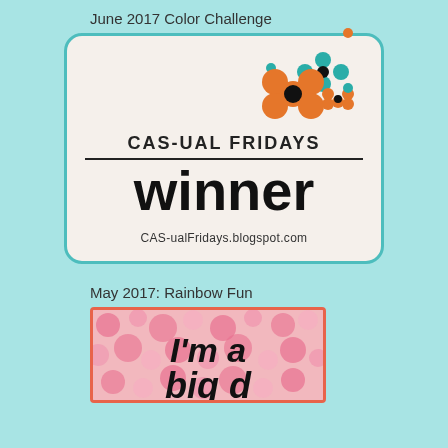June 2017 Color Challenge
[Figure (logo): CAS-ual Fridays Winner badge with teal border, beige background, decorative flower icons in teal and orange, text 'CAS-UAL Fridays winner' and URL 'CAS-ualFridays.blogspot.com']
May 2017: Rainbow Fun
[Figure (illustration): Pink polka-dot badge with cursive text 'I'm a' partially visible, with coral/orange border]